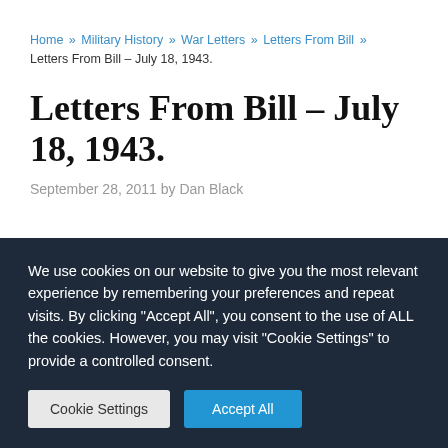Home » Military History » War Letters » Letters From Bill » Letters From Bill – July 18, 1943.
Letters From Bill – July 18, 1943.
September 28, 2011 by Dan Black
We use cookies on our website to give you the most relevant experience by remembering your preferences and repeat visits. By clicking "Accept All", you consent to the use of ALL the cookies. However, you may visit "Cookie Settings" to provide a controlled consent.